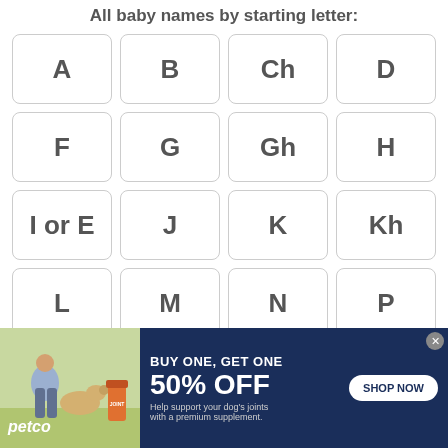All baby names by starting letter:
A
B
Ch
D
F
G
Gh
H
I or E
J
K
Kh
L
M
N
P
Q
R
S
Sh
U or
[Figure (infographic): Petco advertisement banner: BUY ONE, GET ONE 50% OFF on dog joint supplements. Shows woman with dog and supplement product. SHOP NOW button. Close button.]